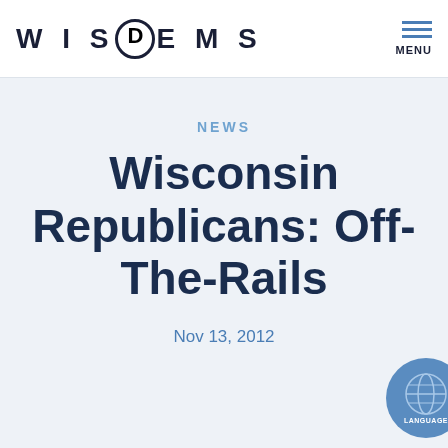WISDEMS | MENU
NEWS
Wisconsin Republicans: Off-The-Rails
Nov 13, 2012